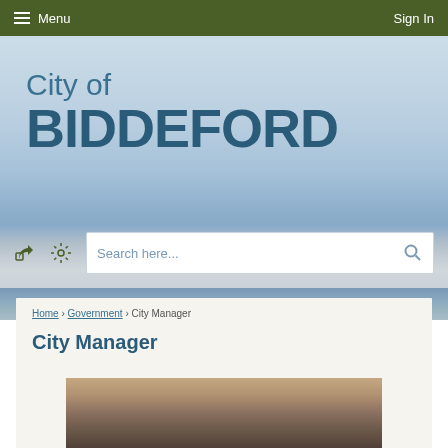Menu | Sign In
[Figure (screenshot): City of Biddeford website header with light blue sky and ocean background, showing 'City of BIDDEFORD' logo text in teal/blue colors]
Search here...
Home › Government › City Manager
City Manager
[Figure (photo): Partial photo of an interior room, appearing to be an office setting, cropped at bottom of page]